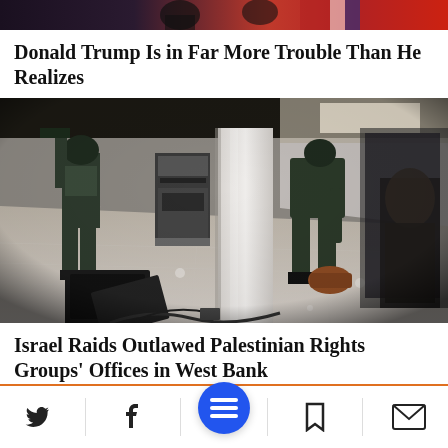[Figure (photo): Top cropped photo showing people in front of flags, partially visible at top of page]
Donald Trump Is in Far More Trouble Than He Realizes
[Figure (photo): CCTV security camera footage of armed Israeli soldiers raiding an office space in the West Bank, with equipment scattered on the floor]
Israel Raids Outlawed Palestinian Rights Groups' Offices in West Bank
Navigation bar with Twitter, Facebook, menu, bookmark, and email icons